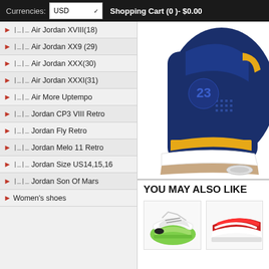Currencies: USD  Shopping Cart (0) - $0.00
Air Jordan XVIII(18)
Air Jordan XX9 (29)
Air Jordan XXX(30)
Air Jordan XXXI(31)
Air More Uptempo
Jordan CP3 VIII Retro
Jordan Fly Retro
Jordan Melo 11 Retro
Jordan Size US14,15,16
Jordan Son Of Mars
Women's shoes
[Figure (photo): Close-up of a navy blue and yellow Air Jordan 4 sneaker showing the side and heel, with a white/gum sole.]
YOU MAY ALSO LIKE
[Figure (photo): Thumbnail of a sneaker with green sole, white upper, visible from below.]
[Figure (photo): Partial thumbnail of a red and white sneaker.]